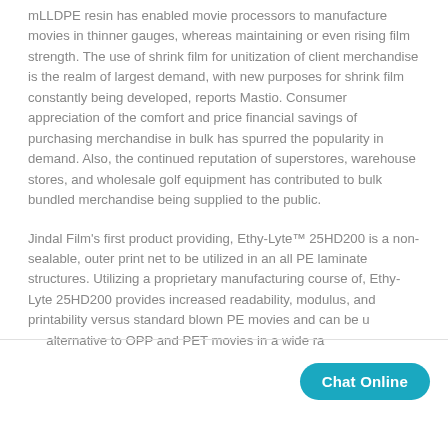mLLDPE resin has enabled movie processors to manufacture movies in thinner gauges, whereas maintaining or even rising film strength. The use of shrink film for unitization of client merchandise is the realm of largest demand, with new purposes for shrink film constantly being developed, reports Mastio. Consumer appreciation of the comfort and price financial savings of purchasing merchandise in bulk has spurred the popularity in demand. Also, the continued reputation of superstores, warehouse stores, and wholesale golf equipment has contributed to bulk bundled merchandise being supplied to the public.
Jindal Film's first product providing, Ethy-Lyte™ 25HD200 is a non-sealable, outer print net to be utilized in an all PE laminate structures. Utilizing a proprietary manufacturing course of, Ethy-Lyte 25HD200 provides increased readability, modulus, and printability versus standard blown PE movies and can be u... alternative to OPP and PET movies in a wide ra...